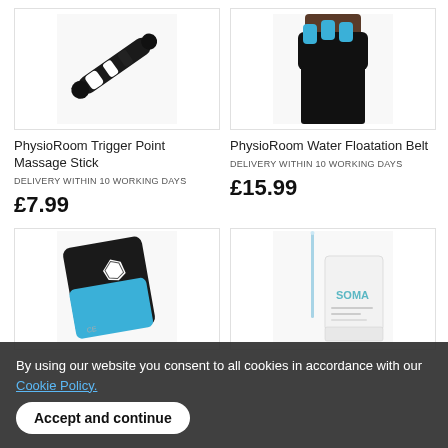[Figure (photo): PhysioRoom Trigger Point Massage Stick product photo - black and white massage stick]
[Figure (photo): PhysioRoom Water Floatation Belt product photo - person wearing blue and black floatation belt]
PhysioRoom Trigger Point Massage Stick
DELIVERY within 10 working days
£7.99
PhysioRoom Water Floatation Belt
DELIVERY within 10 working days
£15.99
[Figure (photo): Blue and black reusable gel ice/heat pack with PhysioRoom logo badge]
[Figure (photo): SOMA branded medical product with long thin applicator stick and white box packaging]
By using our website you consent to all cookies in accordance with our Cookie Policy.
Accept and continue